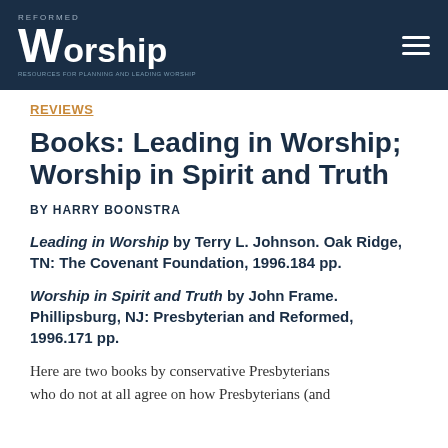REFORMED Worship — Resources for Planning and Leading Worship
REVIEWS
Books: Leading in Worship; Worship in Spirit and Truth
BY HARRY BOONSTRA
Leading in Worship by Terry L. Johnson. Oak Ridge, TN: The Covenant Foundation, 1996.184 pp.
Worship in Spirit and Truth by John Frame. Phillipsburg, NJ: Presbyterian and Reformed, 1996.171 pp.
Here are two books by conservative Presbyterians who do not at all agree on how Presbyterians (and